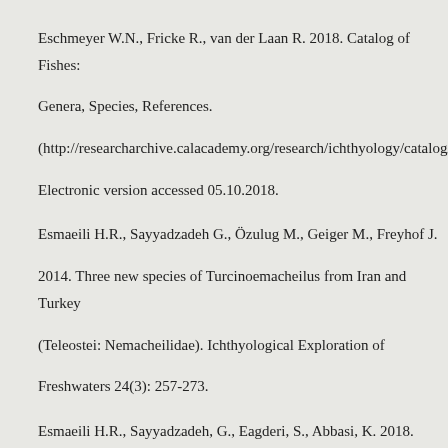Eschmeyer W.N., Fricke R., van der Laan R. 2018. Catalog of Fishes: Genera, Species, References. (http://researcharchive.calacademy.org/research/ichthyology/catalog/fishca Electronic version accessed 05.10.2018.
Esmaeili H.R., Sayyadzadeh G., Özulug M., Geiger M., Freyhof J. 2014. Three new species of Turcinoemacheilus from Iran and Turkey (Teleostei: Nemacheilidae). Ichthyological Exploration of Freshwaters 24(3): 257-273.
Esmaeili H.R., Sayyadzadeh, G., Eagderi, S., Abbasi, K. 2018. Checklist of freshwater fishes of Iran. FishTaxa 3(3): 1-95.
Filippi F., de 1865. Note di un viaggio in Persia nel 1862. Volume unico. G. Daelli, Milano.1-396 [Pisces, pp. 357-360].
Freyhof J., Özulug M. 2006. Pseudophoxinus ninae, a new species